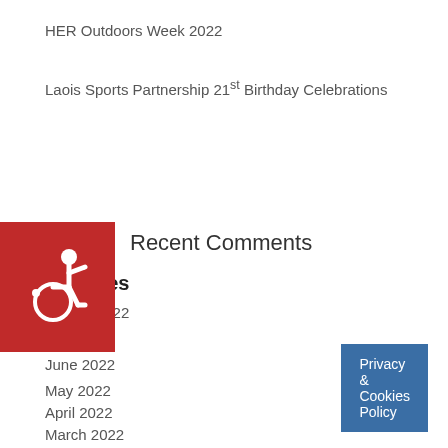HER Outdoors Week 2022
Laois Sports Partnership 21st Birthday Celebrations
Recent Comments
Archives
August 2022
July 2022
June 2022
May 2022
April 2022
March 2022
February 2022
[Figure (illustration): Red square with white wheelchair accessibility icon]
Privacy & Cookies Policy